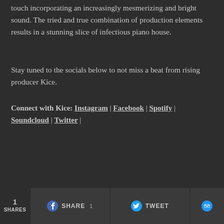touch incorporating an increasingly mesmerizing and bright sound. The tried and true combination of production elements results in a stunning slice of infectious piano house.
Stay tuned to the socials below to not miss a beat from rising producer Kice.
Connect with Kice: Instagram | Facebook | Spotify | Soundcloud | Twitter |
1 SHARES  SHARE 1  TWEET  [messenger icon]